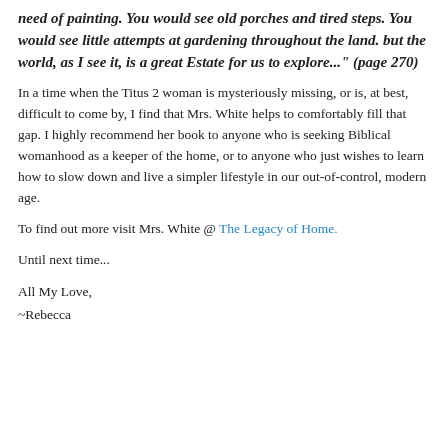need of painting. You would see old porches and tired steps. You would see little attempts at gardening throughout the land. but the world, as I see it, is a great Estate for us to explore..." (page 270)
In a time when the Titus 2 woman is mysteriously missing, or is, at best, difficult to come by, I find that Mrs. White helps to comfortably fill that gap. I highly recommend her book to anyone who is seeking Biblical womanhood as a keeper of the home, or to anyone who just wishes to learn how to slow down and live a simpler lifestyle in our out-of-control, modern age.
To find out more visit Mrs. White @ The Legacy of Home.
Until next time...
All My Love,
~Rebecca